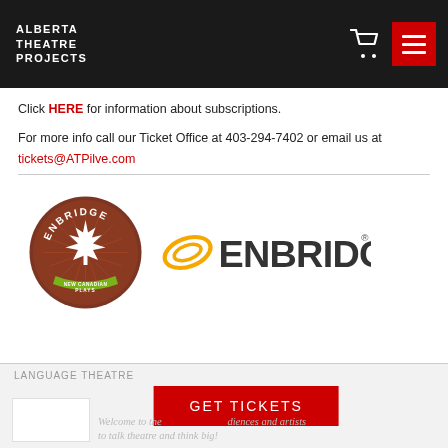ALBERTA THEATRE PROJECTS
Click HERE for information about subscriptions.
For more info call our Ticket Office at 403-294-7402 or email us at tickets@ATPilve.com
[Figure (logo): Enbridge New Canadian Plays circular badge logo and Enbridge wordmark with orange swirl]
GET TICKETS
Welcome to the ... audiences and artists to talk theatre and think big!